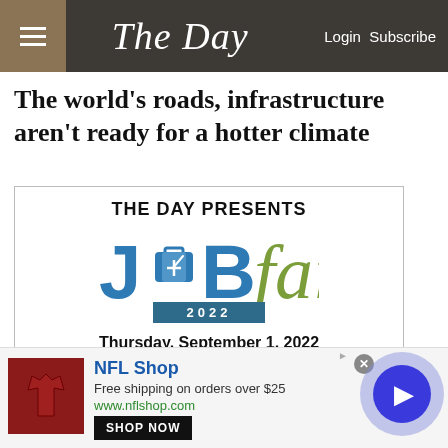The Day | Login Subscribe
The world's roads, infrastructure aren't ready for a hotter climate
[Figure (infographic): Advertisement for The Day Presents JOB fair 2022, Thursday, September 1, 2022, Mystic Marriott Hotel, 10 am – 2 pm]
[Figure (infographic): NFL Shop advertisement. Free shipping on orders over $25. www.nflshop.com. SHOP NOW button. Video play button circle on right.]